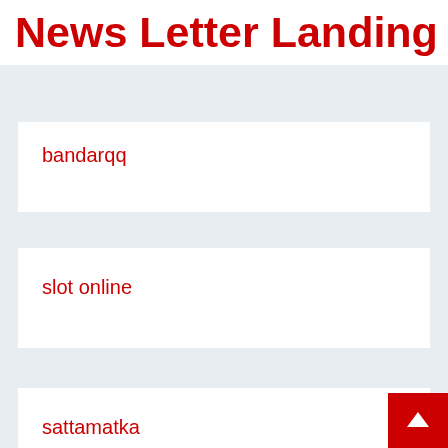News Letter Landing Pag
bandarqq
slot online
sattamatka
rolet online